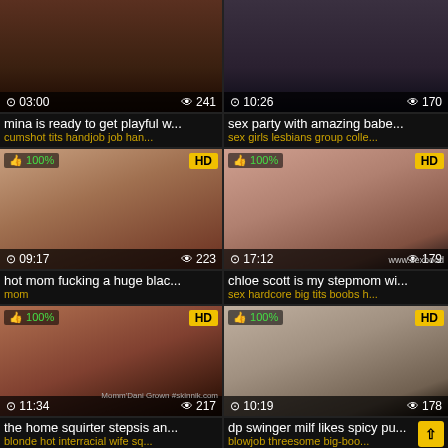[Figure (screenshot): Video thumbnail grid - adult video website listing page with 8 video cards in 2-column layout]
mina is ready to get playful w...
cumshot tits handjob job han...
sex party with amazing babe...
sex girls lesbians group colle...
hot mom fucking a huge blac...
mom
chloe scott is my stepmom wi...
sex hardcore big tits boobs h...
the home squirter stepsis an...
blonde hot interracial wife sq...
dp swinger milf likes spicy pu...
blowjob threesome big-boo...